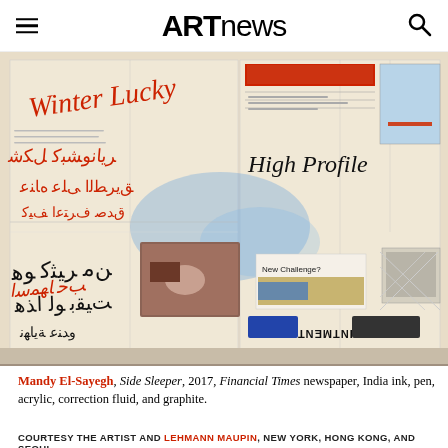ARTnews
[Figure (photo): Artwork by Mandy El-Sayegh titled 'Side Sleeper', 2017. A mixed-media collage on Financial Times newspaper pages featuring Arabic and English calligraphy in red and black ink, abstract blue paint strokes, photographic cutouts, and various newspaper clippings and advertisements. The work is dense with layered text and imagery.]
Mandy El-Sayegh, Side Sleeper, 2017, Financial Times newspaper, India ink, pen, acrylic, correction fluid, and graphite.
COURTESY THE ARTIST AND LEHMANN MAUPIN, NEW YORK, HONG KONG, AND SEOUL